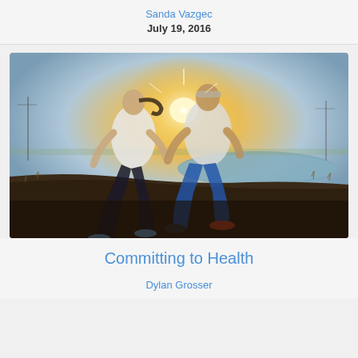Sanda Vazgec
July 19, 2016
[Figure (photo): Two runners (a woman with a ponytail and a man) jogging outdoors near a pond/lake at sunset/sunrise, both wearing white t-shirts, silhouetted against bright backlit sky]
Committing to Health
Dylan Grosser